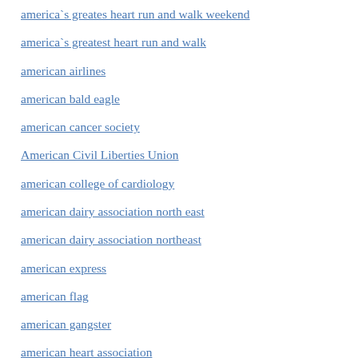america`s greates heart run and walk weekend
america`s greatest heart run and walk
american airlines
american bald eagle
american cancer society
American Civil Liberties Union
american college of cardiology
american dairy association north east
american dairy association northeast
american express
american flag
american gangster
american heart association
american high
American High in Syracuse